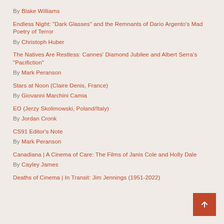By Blake Williams
Endless Night: “Dark Glasses” and the Remnants of Dario Argento’s Mad Poetry of Terror
By Christoph Huber
The Natives Are Restless: Cannes’ Diamond Jubilee and Albert Serra’s “Pacifiction”
By Mark Peranson
Stars at Noon (Claire Denis, France)
By Giovanni Marchini Camia
EO (Jerzy Skolimowski, Poland/Italy)
By Jordan Cronk
CS91 Editor’s Note
By Mark Peranson
Canadiana | A Cinema of Care: The Films of Janis Cole and Holly Dale
By Cayley James
Deaths of Cinema | In Transit: Jim Jennings (1951-2022)